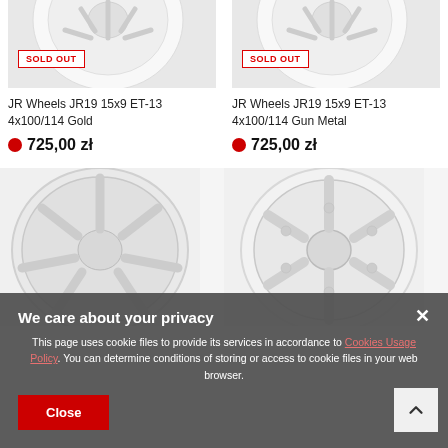[Figure (photo): White alloy wheel product image - top portion visible, with SOLD OUT badge]
[Figure (photo): White alloy wheel product image - top portion visible, with SOLD OUT badge]
JR Wheels JR19 15x9 ET-13 4x100/114 Gold
JR Wheels JR19 15x9 ET-13 4x100/114 Gun Metal
725,00 zł
725,00 zł
[Figure (photo): White alloy wheel with 8 spokes - full view]
[Figure (photo): White alloy wheel with 6 spokes - full view]
We care about your privacy
This page uses cookie files to provide its services in accordance to Cookies Usage Policy. You can determine conditions of storing or access to cookie files in your web browser.
Close